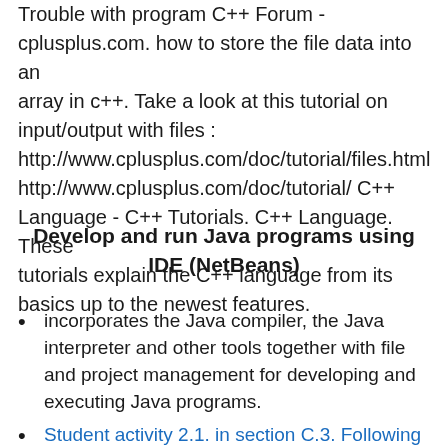Trouble with program C++ Forum - cplusplus.com. how to store the file data into an array in c++. Take a look at this tutorial on input/output with files : http://www.cplusplus.com/doc/tutorial/files.html http://www.cplusplus.com/doc/tutorial/ C++ Language - C++ Tutorials. C++ Language. These tutorials explain the C++ language from its basics up to the newest features.
Develop and run Java programs using IDE (NetBeans)
incorporates the Java compiler, the Java interpreter and other tools together with file and project management for developing and executing Java programs.
Student activity 2.1. in section C.3. Following NetBeans tutorial on how to create and run a